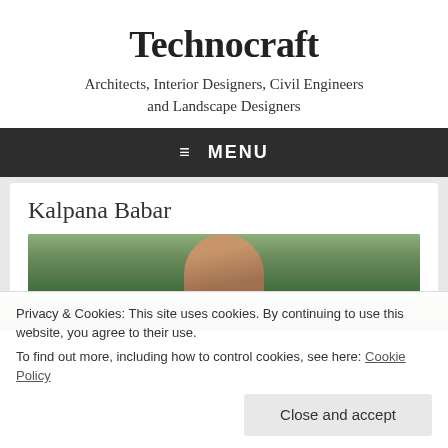Technocraft
Architects, Interior Designers, Civil Engineers and Landscape Designers
≡  MENU
Kalpana Babar
[Figure (photo): Partial photo of a woman with dark hair against a green leafy background]
Privacy & Cookies: This site uses cookies. By continuing to use this website, you agree to their use.
To find out more, including how to control cookies, see here: Cookie Policy
Close and accept
[Figure (photo): Partial photo strip at bottom showing the same woman]